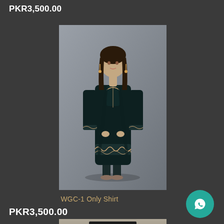PKR3,500.00
[Figure (photo): Woman wearing a dark teal/black embroidered shalwar kameez (kurti) with gold floral embroidery at the hem and cuffs, paired with dark trousers, standing against a grey background.]
WGC-1 Only Shirt
[Figure (logo): WhatsApp icon button (white phone/chat icon on teal circular background)]
PKR3,500.00
[Figure (photo): Partial view of another product image at the bottom of the page, showing what appears to be a light-colored outfit.]